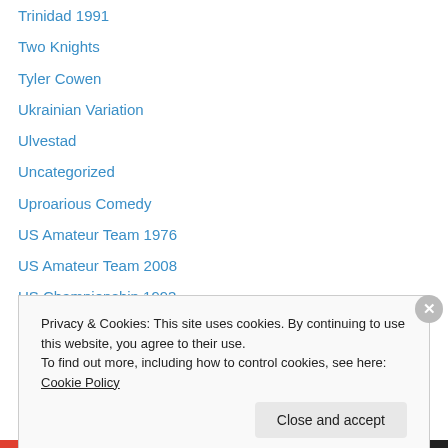Trinidad 1991
Two Knights
Tyler Cowen
Ukrainian Variation
Ulvestad
Uncategorized
Uproarious Comedy
US Amateur Team 1976
US Amateur Team 2008
US Championship 1993
US Chess League 2007
US Junior Invitational 1978
US Junior Open 1974
Privacy & Cookies: This site uses cookies. By continuing to use this website, you agree to their use.
To find out more, including how to control cookies, see here: Cookie Policy
Close and accept